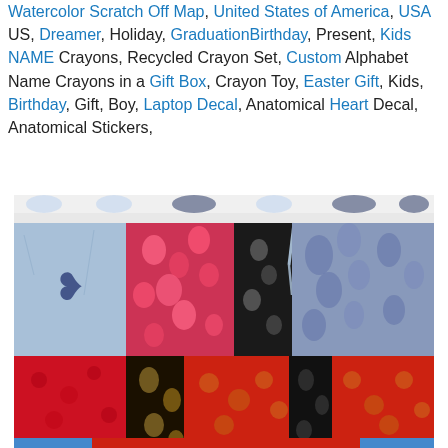Watercolor Scratch Off Map, United States of America, USA US, Dreamer, Holiday, GraduationBirthday, Present, Kids NAME Crayons, Recycled Crayon Set, Custom Alphabet Name Crayons in a Gift Box, Crayon Toy, Easter Gift, Kids, Birthday, Gift, Boy, Laptop Decal, Anatomical Heart Decal, Anatomical Stickers,
[Figure (photo): Patchwork/quilted shorts or skirt with colorful fabric panels including light blue with floral print, red/pink floral pattern, black with floral pattern, blue paisley, and red with gold paisley. White elastic/drawstring waistband with a decorative blue floral border strip.]